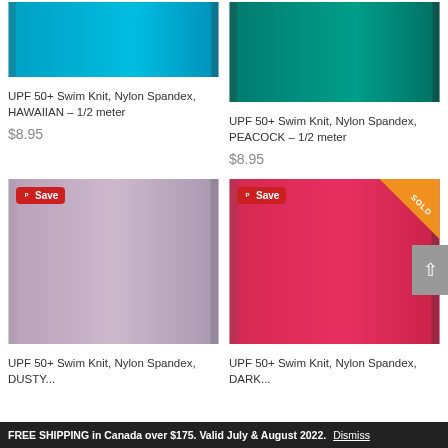[Figure (photo): Turquoise/Hawaiian blue swim knit fabric on a dress form, partially cropped at top]
UPF 50+ Swim Knit, Nylon Spandex, HAWAIIAN – 1/2 meter
$8.95
[Figure (photo): Peacock/teal swim knit fabric on a dress form, partially cropped at top]
UPF 50+ Swim Knit, Nylon Spandex, PEACOCK – 1/2 meter
$8.95
[Figure (photo): Dusty/mauve lavender swim knit fabric on a dress form with a Save Pinterest badge]
[Figure (photo): Dark pink/hot coral swim knit fabric on a dress form with Save Pinterest badge and SOLD corner ribbon]
UPF 50+ Swim Knit, Nylon Spandex, DUSTY...
UPF 50+ Swim Knit, Nylon Spandex, DARK...
FREE SHIPPING in Canada over $175. Valid July & August 2022. Dismiss